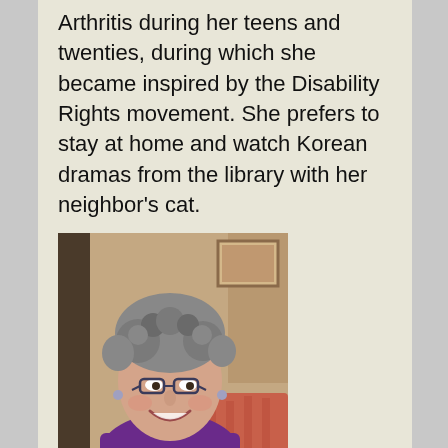Arthritis during her teens and twenties, during which she became inspired by the Disability Rights movement. She prefers to stay at home and watch Korean dramas from the library with her neighbor's cat.
[Figure (photo): Portrait photo of a smiling older woman with short gray curly hair, wearing glasses and a purple top, seated indoors.]
Ellen Wendt, Treasurer
Ellen is retired and moved to Washington from Minnesota with